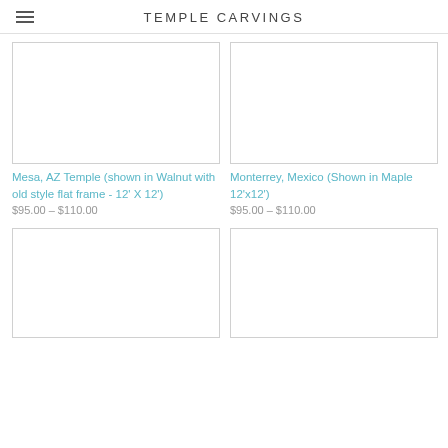TEMPLE CARVINGS
[Figure (photo): Product image placeholder for Mesa AZ Temple carving]
Mesa, AZ Temple (shown in Walnut with old style flat frame - 12' X 12')
$95.00 - $110.00
[Figure (photo): Product image placeholder for Monterrey Mexico Temple carving]
Monterrey, Mexico (Shown in Maple 12'x12')
$95.00 - $110.00
[Figure (photo): Product image placeholder, bottom left]
[Figure (photo): Product image placeholder, bottom right]